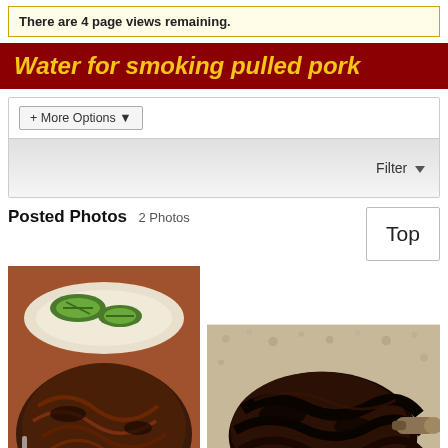There are 4 page views remaining.
Water for smoking pulled pork
+ More Options ▾
Filter ▼
Posted Photos  2 Photos
[Figure (photo): Two food photos: left shows pulled pork on a plate with grilled food visible above; right shows a large smoked pork butt/shoulder on a surface.]
Top